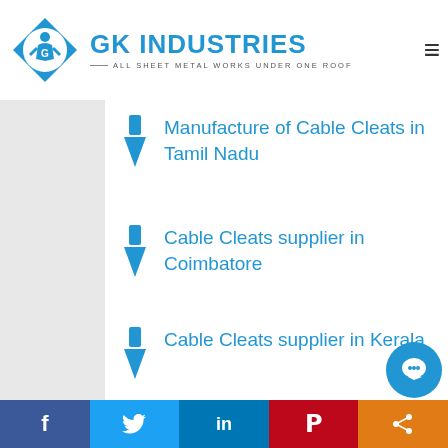[Figure (logo): GK Industries logo — blue diamond with figure icon, company name in blue, tagline ALL SHEET METAL WORKS UNDER ONE ROOF]
Manufacture of Cable Cleats in Tamil Nadu
Cable Cleats supplier in Coimbatore
Cable Cleats supplier in Kerala
Facebook Twitter LinkedIn Pinterest Share